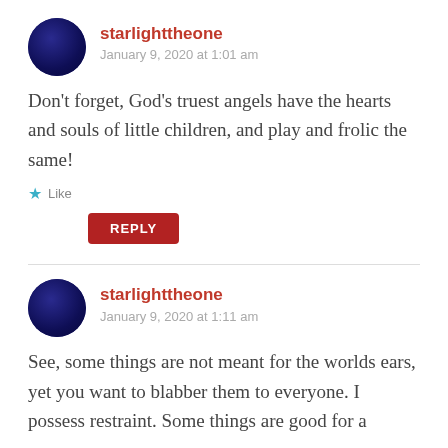starlighttheone
January 9, 2020 at 1:01 am
Don't forget, God's truest angels have the hearts and souls of little children, and play and frolic the same!
Like
REPLY
starlighttheone
January 9, 2020 at 1:11 am
See, some things are not meant for the worlds ears, yet you want to blabber them to everyone. I possess restraint. Some things are good for a